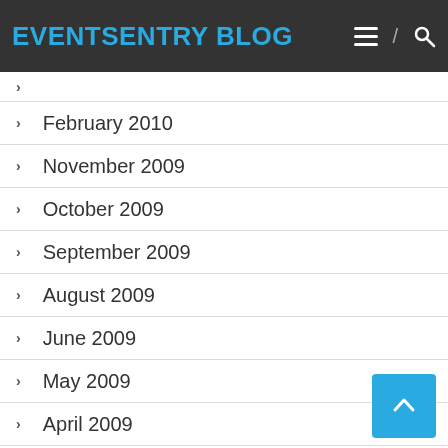EVENTSENTRY BLOG
February 2010
November 2009
October 2009
September 2009
August 2009
June 2009
May 2009
April 2009
March 2009
February 2009